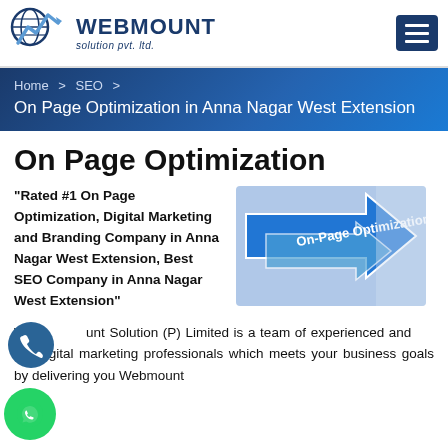[Figure (logo): Webmount Solution Pvt. Ltd. logo with globe and chart icon]
Home > SEO > On Page Optimization in Anna Nagar West Extension
On Page Optimization
"Rated #1 On Page Optimization, Digital Marketing and Branding Company in Anna Nagar West Extension, Best SEO Company in Anna Nagar West Extension"
[Figure (photo): Blue arrow signs labeled On-Page Optimization]
Webmount Solution (P) Limited is a team of experienced and adept digital marketing professionals which meets your business goals by delivering you Webmount